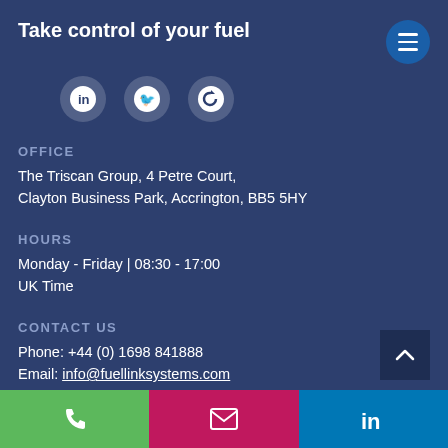Take control of your fuel
[Figure (illustration): LinkedIn, Twitter, and FUELlink social media icons as white circles on dark blue background, plus a hamburger menu button (dark blue circle with three white lines)]
OFFICE
The Triscan Group, 4 Petre Court, Clayton Business Park, Accrington, BB5 5HY
HOURS
Monday - Friday | 08:30 - 17:00
UK Time
CONTACT US
Phone: +44 (0) 1698 841888
Email: info@fuellinksystems.com
© 2022 FUELlink Systems Ltd
[Figure (illustration): Bottom navigation bar with three sections: green phone icon, pink/magenta email envelope icon, blue LinkedIn icon]